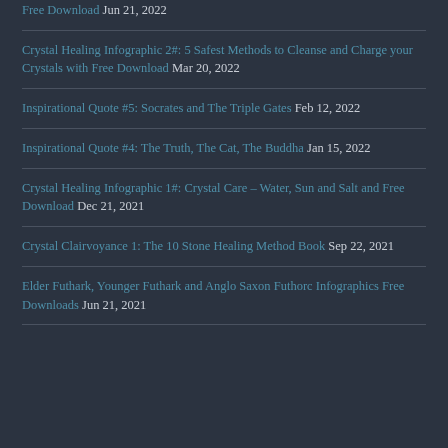Free Download Jun 21, 2022
Crystal Healing Infographic 2#: 5 Safest Methods to Cleanse and Charge your Crystals with Free Download Mar 20, 2022
Inspirational Quote #5: Socrates and The Triple Gates Feb 12, 2022
Inspirational Quote #4: The Truth, The Cat, The Buddha Jan 15, 2022
Crystal Healing Infographic 1#: Crystal Care – Water, Sun and Salt and Free Download Dec 21, 2021
Crystal Clairvoyance 1: The 10 Stone Healing Method Book Sep 22, 2021
Elder Futhark, Younger Futhark and Anglo Saxon Futhorc Infographics Free Downloads Jun 21, 2021